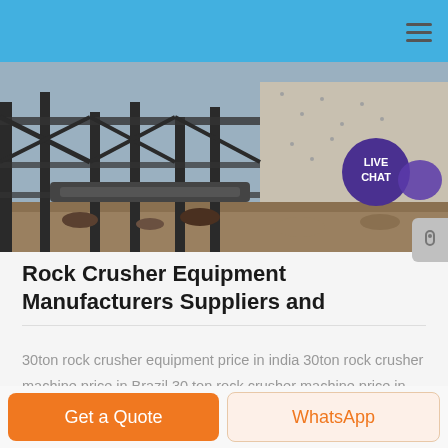[Figure (photo): Industrial rock crusher / mining equipment steel structure photograph showing metal framework, conveyor belts, and concrete wall in background with a 'LIVE CHAT' button overlay in top right.]
Rock Crusher Equipment Manufacturers Suppliers and
30ton rock crusher equipment price in india 30ton rock crusher machine price in Brazil 30 ton rock crusher machine price in india crusher mobile used 20 30 ton per presstocoza Price of 30 Ton Per Hour Stone crushers in for small quarry machine 520 ton crusher india hr stone crusher machine 200 ton per hour Rock